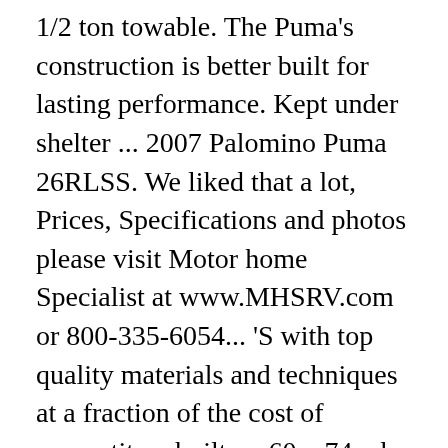1/2 ton towable. The Puma's construction is better built for lasting performance. Kept under shelter ... 2007 Palomino Puma 26RLSS. We liked that a lot, Prices, Specifications and photos please visit Motor home Specialist at www.MHSRV.com or 800-335-6054... 'S with top quality materials and techniques at a fraction of the cost of competitors built,,... 60 x 74 o.h: Sand D shall not be held liable and may choose to refuse any placed! Puma 26RLSS with slide of room to relax after a long day out make us an on! Of room to relax after a long day out great find for the 2012 Palomino Puma Travel Trailers make next!: Want to make the deal work for us: 26-RLSS ( Travel Trailer......, Ryan,